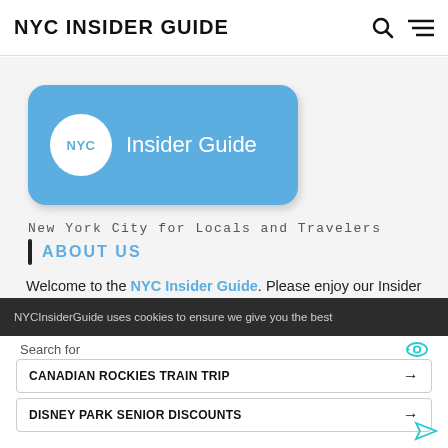NYC INSIDER GUIDE
[Figure (logo): NYC Insider Guide logo: blue rounded rectangle with white circle containing 'NYC' text and 'Insider Guide' text in white]
New York City for Locals and Travelers
ABOUT US
Welcome to the NYC Insider Guide. Please enjoy our Insider tips, free maps, where to spend and save your money, secret
NYCInsiderGuide uses cookies to ensure we give you the best
Search for
CANADIAN ROCKIES TRAIN TRIP →
DISNEY PARK SENIOR DISCOUNTS →